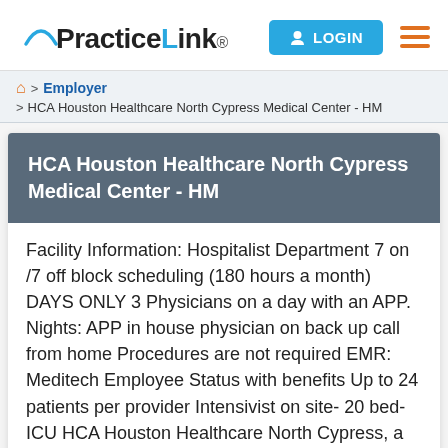PracticeLink | LOGIN
> Employer > HCA Houston Healthcare North Cypress Medical Center - HM
HCA Houston Healthcare North Cypress Medical Center - HM
Facility Information: Hospitalist Department 7 on /7 off block scheduling (180 hours a month) DAYS ONLY 3 Physicians on a day with an APP. Nights: APP in house physician on back up call from home Procedures are not required EMR: Meditech Employee Status with benefits Up to 24 patients per provider Intensivist on site- 20 bed- ICU HCA Houston Healthcare North Cypress, a campus of HCA Houston Healthcare Kingwood, is a 163-licensed bed, general acute care hospital. Since being